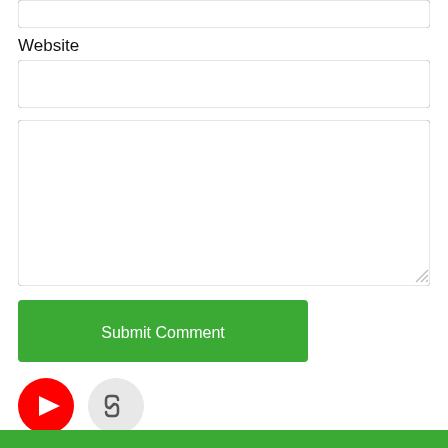Website
[Figure (screenshot): Empty text input field for Website URL]
[Figure (screenshot): Large empty textarea for comment text with resize handle]
[Figure (screenshot): Green Submit Comment button]
[Figure (screenshot): YouTube icon (red circle with white play button) and a link/chain icon (gray circle with chain symbol)]
[Figure (screenshot): Green footer bar at the bottom of the page]